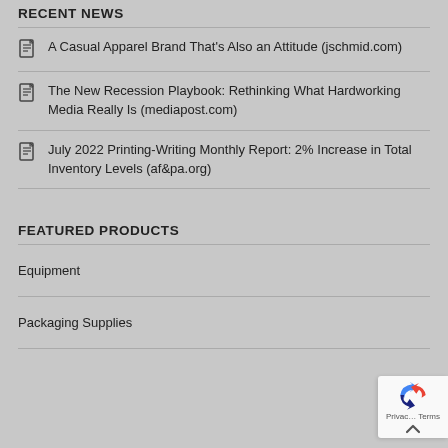RECENT NEWS
A Casual Apparel Brand That's Also an Attitude (jschmid.com)
The New Recession Playbook: Rethinking What Hardworking Media Really Is (mediapost.com)
July 2022 Printing-Writing Monthly Report: 2% Increase in Total Inventory Levels (af&pa.org)
FEATURED PRODUCTS
Equipment
Packaging Supplies